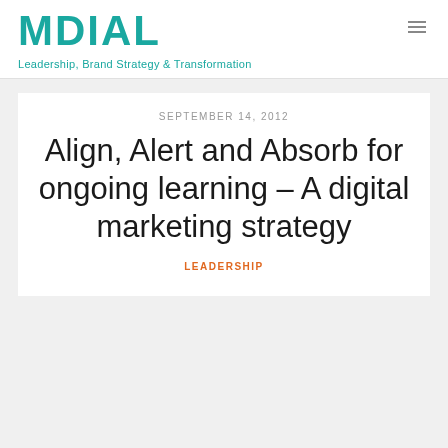MDIAL
Leadership, Brand Strategy & Transformation
SEPTEMBER 14, 2012
Align, Alert and Absorb for ongoing learning – A digital marketing strategy
LEADERSHIP